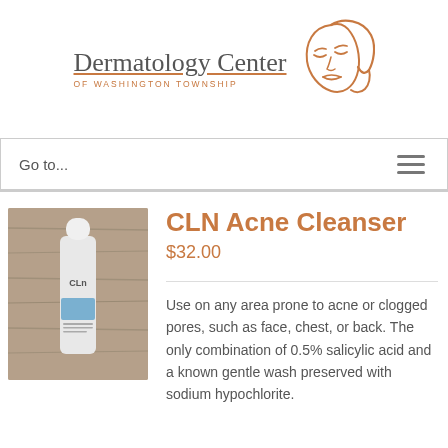[Figure (logo): Dermatology Center of Washington Township logo with an orange illustrated female face profile and text]
Go to...
[Figure (photo): Product photo of CLN Acne Cleanser bottle/spray on a wooden surface]
CLN Acne Cleanser
$32.00
Use on any area prone to acne or clogged pores, such as face, chest, or back. The only combination of 0.5% salicylic acid and a known gentle wash preserved with sodium hypochlorite.